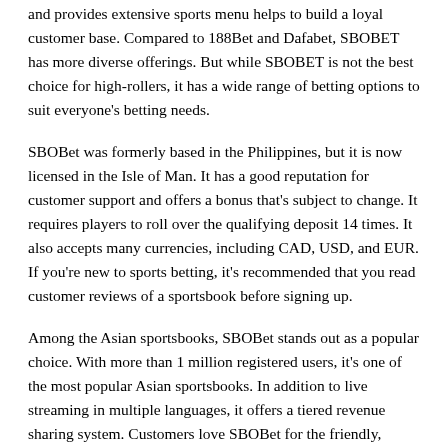and provides extensive sports menu helps to build a loyal customer base. Compared to 188Bet and Dafabet, SBOBET has more diverse offerings. But while SBOBET is not the best choice for high-rollers, it has a wide range of betting options to suit everyone's betting needs.
SBOBet was formerly based in the Philippines, but it is now licensed in the Isle of Man. It has a good reputation for customer support and offers a bonus that's subject to change. It requires players to roll over the qualifying deposit 14 times. It also accepts many currencies, including CAD, USD, and EUR. If you're new to sports betting, it's recommended that you read customer reviews of a sportsbook before signing up.
Among the Asian sportsbooks, SBOBet stands out as a popular choice. With more than 1 million registered users, it's one of the most popular Asian sportsbooks. In addition to live streaming in multiple languages, it offers a tiered revenue sharing system. Customers love SBOBet for the friendly, knowledgeable support that it offers. Whether you're looking for an Asian sportsbook or a western one, SBOBet offers an extensive range of betting options and excellent customer service.
The SBOBet sportsbook was launched in the Philippines, but it has